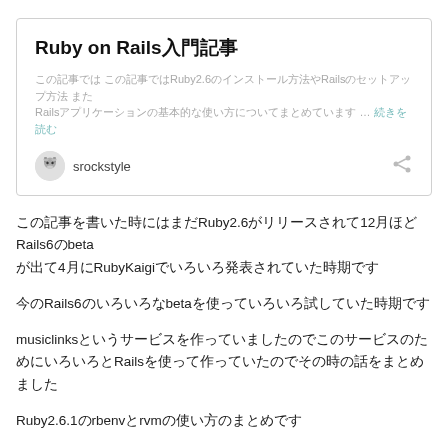Ruby on Rails入門記事
この記事では Rubyを使って2.6バージョンのインストール方法やRailsのセットアップ方法 また Railsアプリケーションの基本的な使い方についてまとめています … 続きを読む
srockstyle
この記事を書いた時にはまだRuby2.6がリリースされて12月ほどRails6のbetaが出て4月にRubyKaigiでいろいろ発表されていた時期です
今のRails6のいろいろなbetaを使っていろいろ試していた時期です
musiclinksというサービスを作っていましたのでこのサービスのためにいろいろとRailsを使って作っていたのでその時の話をまとめました
Ruby2.6.1のrbenvとrvmの使い方のまとめです